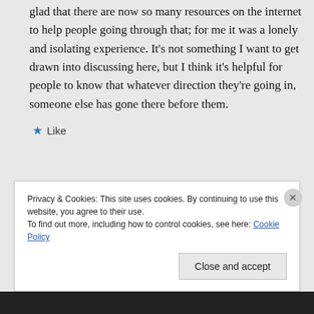glad that there are now so many resources on the internet to help people going through that; for me it was a lonely and isolating experience. It's not something I want to get drawn into discussing here, but I think it's helpful for people to know that whatever direction they're going in, someone else has gone there before them.
★ Like
↳ Reply
Privacy & Cookies: This site uses cookies. By continuing to use this website, you agree to their use.
To find out more, including how to control cookies, see here: Cookie Policy
Close and accept